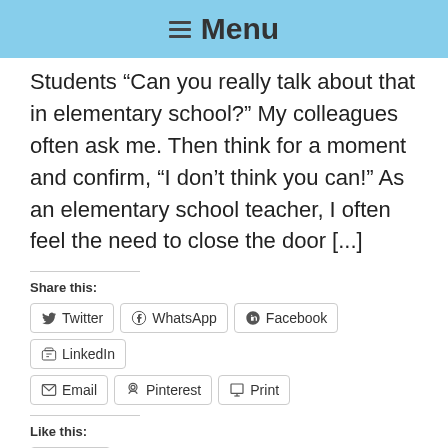≡ Menu
Students “Can you really talk about that in elementary school?” My colleagues often ask me. Then think for a moment and confirm, “I don’t think you can!” As an elementary school teacher, I often feel the need to close the door [...]
Share this:
Twitter  WhatsApp  Facebook  LinkedIn  Email  Pinterest  Print
Like this:
Like
Be the first to like this.